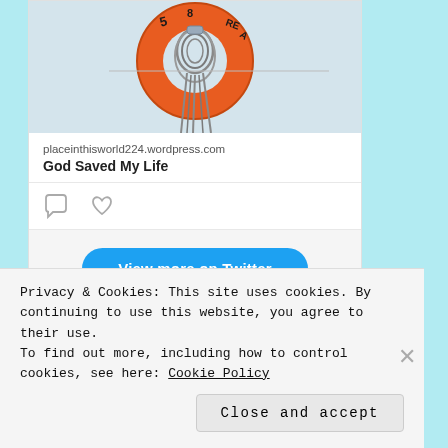[Figure (photo): Top portion of a life ring / lifebuoy with rope, orange color, mounted on a surface, partially cropped at top]
placeinthisworld224.wordpress.com
God Saved My Life
[Figure (other): Comment icon (speech bubble outline) and heart/like icon side by side]
[Figure (other): View more on Twitter button (blue rounded button)]
Privacy & Cookies: This site uses cookies. By continuing to use this website, you agree to their use.
To find out more, including how to control cookies, see here: Cookie Policy
Close and accept